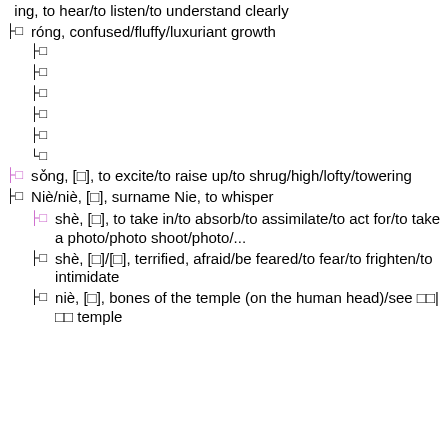ing, to hear/to listen/to understand clearly
róng, confused/fluffy/luxuriant growth
□
□
□
□
□
□
sǒng, [□], to excite/to raise up/to shrug/high/lofty/towering
Niè/niè, [□], surname Nie, to whisper
shè, [□], to take in/to absorb/to assimilate/to act for/to take a photo/photo shoot/photo/...
shè, [□]/[□], terrified, afraid/be feared/to fear/to frighten/to intimidate
niè, [□], bones of the temple (on the human head)/see □□|□□ temple